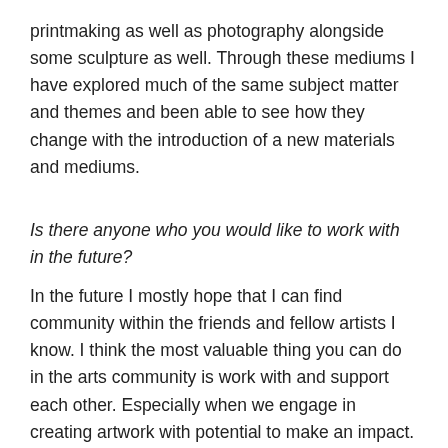printmaking as well as photography alongside some sculpture as well. Through these mediums I have explored much of the same subject matter and themes and been able to see how they change with the introduction of a new materials and mediums.
Is there anyone who you would like to work with in the future?
In the future I mostly hope that I can find community within the friends and fellow artists I know. I think the most valuable thing you can do in the arts community is work with and support each other. Especially when we engage in creating artwork with potential to make an impact.